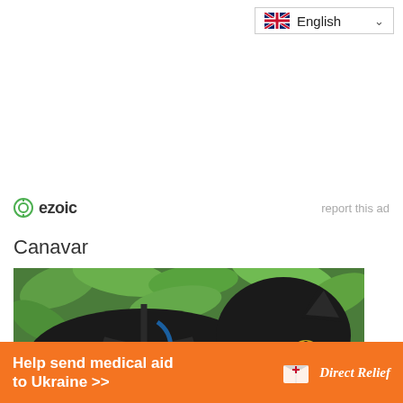[Figure (screenshot): Language selector dropdown showing UK flag and 'English' with a chevron]
ezoic   report this ad
Canavar
[Figure (photo): A black cat wearing a harness outdoors among green leaves]
[Figure (infographic): Orange banner advertisement: 'Help send medical aid to Ukraine >>' with Direct Relief logo]